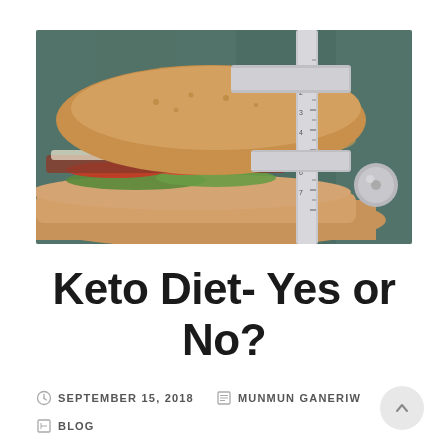[Figure (photo): A sandwich being measured with a metal vernier caliper/ruler, on a dark teal/grey background. The sandwich appears to contain meat, pickles, red peppers, and other fillings in a wholegrain roll.]
Keto Diet- Yes or No?
SEPTEMBER 15, 2018   MUNMUN GANERIW   BLOG